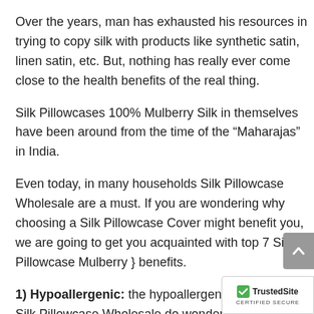Over the years, man has exhausted his resources in trying to copy silk with products like synthetic satin, linen satin, etc. But, nothing has really ever come close to the health benefits of the real thing.
Silk Pillowcases 100% Mulberry Silk in themselves have been around from the time of the “Maharajas” in India.
Even today, in many households Silk Pillowcase Wholesale are a must. If you are wondering why choosing a Silk Pillowcase Cover might benefit you, we are going to get you acquainted with top 7 Silk Pillowcase Mulberry } benefits.
1) Hypoallergenic: the hypoallergenic properties of Silk Pillowcase Wholesale do wonders in your battle with allergies or sensitive skin.
Silk contains a rare protein that naturally repels d...